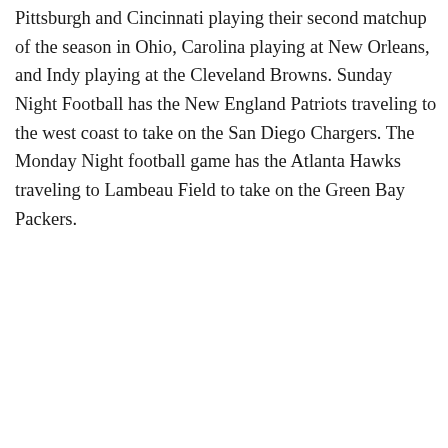Pittsburgh and Cincinnati playing their second matchup of the season in Ohio, Carolina playing at New Orleans, and Indy playing at the Cleveland Browns. Sunday Night Football has the New England Patriots traveling to the west coast to take on the San Diego Chargers. The Monday Night football game has the Atlanta Hawks traveling to Lambeau Field to take on the Green Bay Packers.